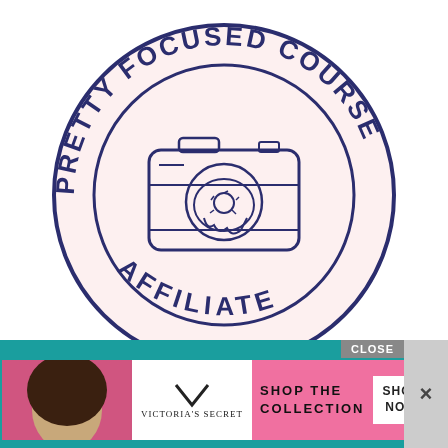[Figure (logo): Circular badge/seal logo for 'Pretty Focused Course Affiliate' with a camera icon in the center where the camera lens is replaced by a donut illustration. Dark navy text on light pink/white background.]
Currently enrolled and highly recommend this photography course!
[Figure (photo): Victoria's Secret advertisement banner with a woman with curly hair on a pink background, Victoria's Secret logo, and text 'SHOP THE COLLECTION' with a 'SHOP NOW' button. Has a CLOSE button and X dismiss button.]